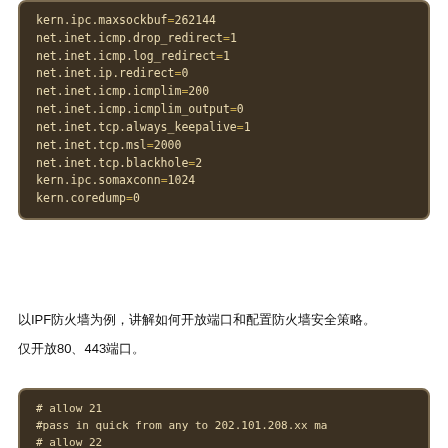[Figure (screenshot): Code block showing sysctl kernel/network parameters: kern.ipc.maxsockbuf=262144, net.inet.icmp.drop_redirect=1, net.inet.icmp.log_redirect=1, net.inet.ip.redirect=0, net.inet.icmp.icmplim=200, net.inet.icmp.icmplim_output=0, net.inet.tcp.always_keepalive=1, net.inet.tcp.msl=2000, net.inet.tcp.blackhole=2, kern.ipc.somaxconn=1024, kern.coredump=0]
以IPF防火墙为例，讲解如何开放端口和配置防火墙安全策略。
仅开放80、443端口。
[Figure (screenshot): Code block showing IPF firewall rules: # allow 21, #pass in quick from any to 202.101.208.xx ma..., # allow 22]